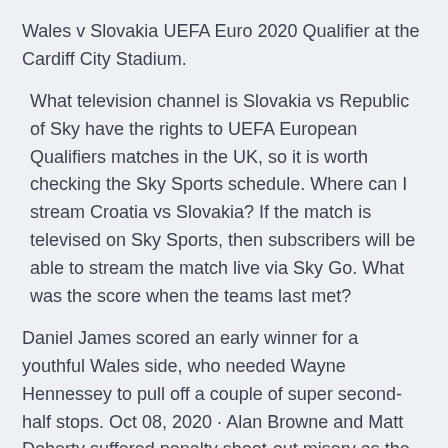Wales v Slovakia UEFA Euro 2020 Qualifier at the Cardiff City Stadium.
What television channel is Slovakia vs Republic of Sky have the rights to UEFA European Qualifiers matches in the UK, so it is worth checking the Sky Sports schedule. Where can I stream Croatia vs Slovakia? If the match is televised on Sky Sports, then subscribers will be able to stream the match live via Sky Go. What was the score when the teams last met?
Daniel James scored an early winner for a youthful Wales side, who needed Wayne Hennessey to pull off a couple of super second-half stops. Oct 08, 2020 · Alan Browne and Matt Doherty suffered penalty shoot-out misery as the Republic of Ireland bowed out of the Euro 2020 play-offs in agonising fashion against Slovakia in